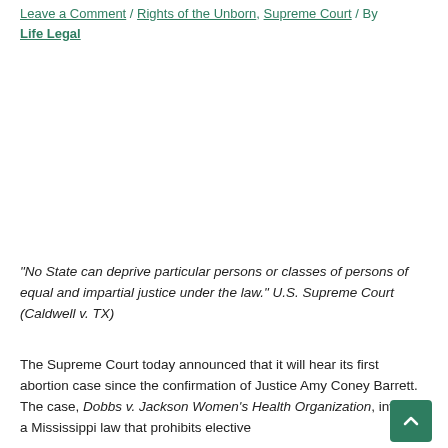Leave a Comment / Rights of the Unborn, Supreme Court / By Life Legal
“No State can deprive particular persons or classes of persons of equal and impartial justice under the law.” U.S. Supreme Court (Caldwell v. TX)
The Supreme Court today announced that it will hear its first abortion case since the confirmation of Justice Amy Coney Barrett. The case, Dobbs v. Jackson Women’s Health Organization, involves a Mississippi law that prohibits elective